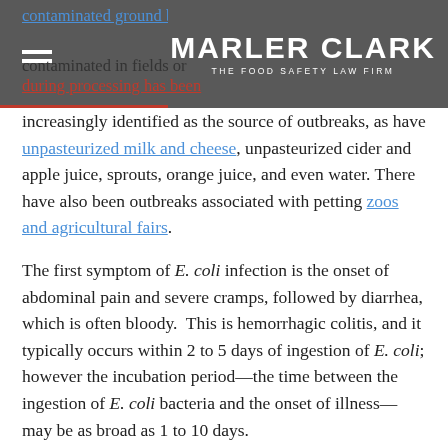MARLER CLARK | THE FOOD SAFETY LAW FIRM
E. coli outbreaks has been traced to contaminated ground beef; however produce has been contaminated in fields or during processing has been increasingly identified as the source of outbreaks, as have unpasteurized milk and cheese, unpasteurized cider and apple juice, sprouts, orange juice, and even water. There have also been outbreaks associated with petting zoos and agricultural fairs.
The first symptom of E. coli infection is the onset of abdominal pain and severe cramps, followed by diarrhea, which is often bloody.  This is hemorrhagic colitis, and it typically occurs within 2 to 5 days of ingestion of E. coli; however the incubation period—the time between the ingestion of E. coli bacteria and the onset of illness—may be as broad as 1 to 10 days.
“Unfortunately, E. coli can be easily transmitted within